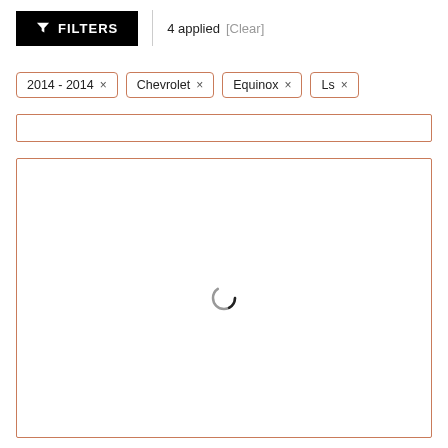[Figure (screenshot): Filter bar with black FILTERS button showing funnel icon, a vertical divider, '4 applied' text and '[Clear]' link]
2014 - 2014 ×
Chevrolet ×
Equinox ×
Ls ×
[Figure (screenshot): Empty search input box with orange/brown border]
[Figure (screenshot): Large results area with orange/brown border showing a loading spinner in the center]